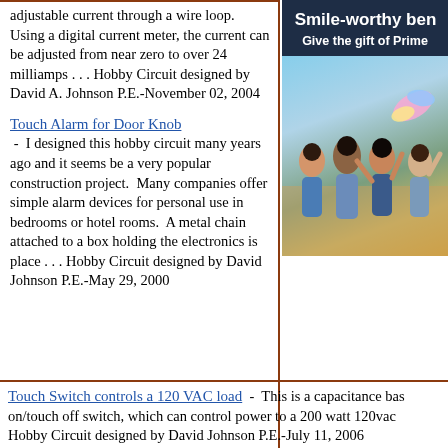adjustable current through a wire loop. Using a digital current meter, the current can be adjusted from near zero to over 24 milliamps . . . Hobby Circuit designed by David A. Johnson P.E.-November 02, 2004
Touch Alarm for Door Knob - I designed this hobby circuit many years ago and it seems be a very popular construction project. Many companies offer simple alarm devices for personal use in bedrooms or hotel rooms. A metal chain attached to a box holding the electronics is place . . . Hobby Circuit designed by David Johnson P.E.-May 29, 2000
[Figure (photo): Advertisement banner with dark navy background showing text 'Smile-worthy benefits' and 'Give the gift of Prime' with a photo of a group of happy people outdoors holding a colorful flag or ribbon]
Touch Switch controls a 120 VAC load - This is a capacitance based on/touch off switch, which can control power to a 200 watt 120vac... Hobby Circuit designed by David Johnson P.E.-July 11, 2006